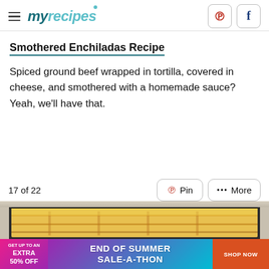myrecipes
Smothered Enchiladas Recipe
Spiced ground beef wrapped in tortilla, covered in cheese, and smothered with a homemade sauce? Yeah, we'll have that.
17 of 22
[Figure (photo): A baking dish of smothered enchiladas covered in melted orange cheese, seen from a slightly elevated angle on a light surface.]
END OF SUMMER SALE-A-THON GET UP TO AN EXTRA 50% OFF SHOP NOW